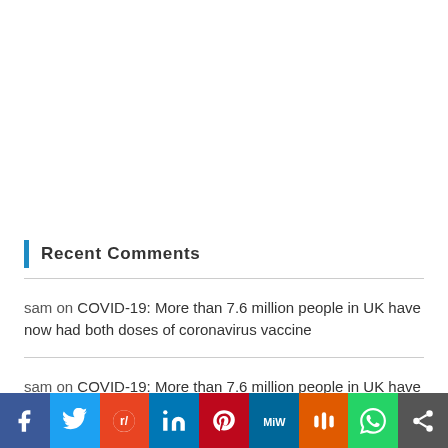Recent Comments
sam on COVID-19: More than 7.6 million people in UK have now had both doses of coronavirus vaccine
sam on COVID-19: More than 7.6 million people in UK have now had both doses of coronavirus vaccine
[Figure (other): Social sharing bar with icons for Facebook, Twitter, Reddit, LinkedIn, Pinterest, MeWe, Mix, WhatsApp, and a share button]